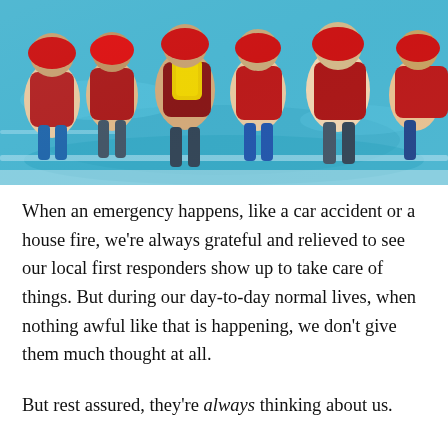[Figure (photo): Aerial/top-down view of several people in a swimming pool wearing red helmets and red/yellow life vests/PFDs, standing in shallow water during a water rescue training exercise.]
When an emergency happens, like a car accident or a house fire, we're always grateful and relieved to see our local first responders show up to take care of things. But during our day-to-day normal lives, when nothing awful like that is happening, we don't give them much thought at all.
But rest assured, they're always thinking about us.
That point was driven home to me a few days ago when I saw a Facebook post from the Webster Volunteer Fire